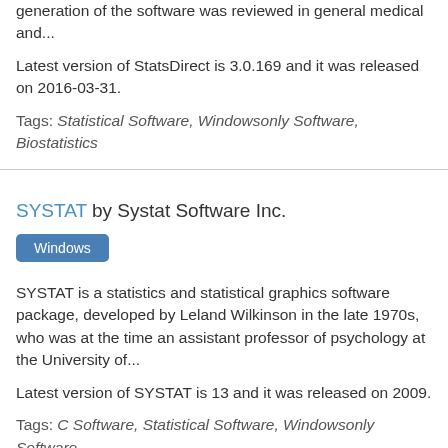generation of the software was reviewed in general medical and...
Latest version of StatsDirect is 3.0.169 and it was released on 2016-03-31.
Tags: Statistical Software, Windowsonly Software, Biostatistics
SYSTAT by Systat Software Inc.
Windows
SYSTAT is a statistics and statistical graphics software package, developed by Leland Wilkinson in the late 1970s, who was at the time an assistant professor of psychology at the University of...
Latest version of SYSTAT is 13 and it was released on 2009.
Tags: C Software, Statistical Software, Windowsonly Software